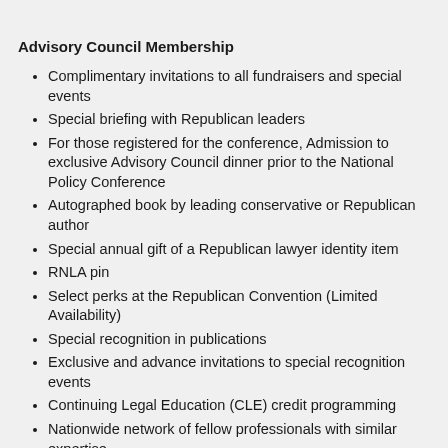Advisory Council Membership
Complimentary invitations to all fundraisers and special events
Special briefing with Republican leaders
For those registered for the conference, Admission to exclusive Advisory Council dinner prior to the National Policy Conference
Autographed book by leading conservative or Republican author
Special annual gift of a Republican lawyer identity item
RNLA pin
Select perks at the Republican Convention (Limited Availability)
Special recognition in publications
Exclusive and advance invitations to special recognition events
Continuing Legal Education (CLE) credit programming
Nationwide network of fellow professionals with similar expertise
Information about assistance opportunities for the